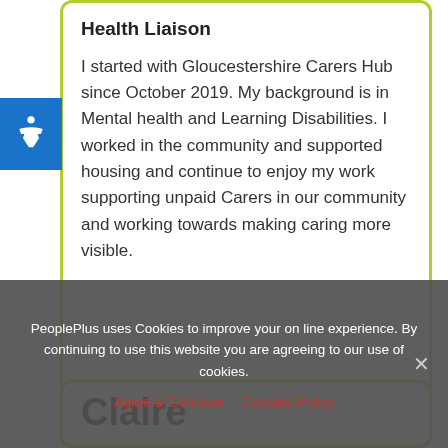Health Liaison
I started with Gloucestershire Carers Hub since October 2019. My background is in Mental health and Learning Disabilities. I worked in the community and supported housing and continue to enjoy my work supporting unpaid Carers in our community and working towards making caring more visible.
Claire
PeoplePlus uses Cookies to improve your on line experience. By continuing to use this website you are agreeing to our use of cookies.
Agree & Continue   Cookies Policy